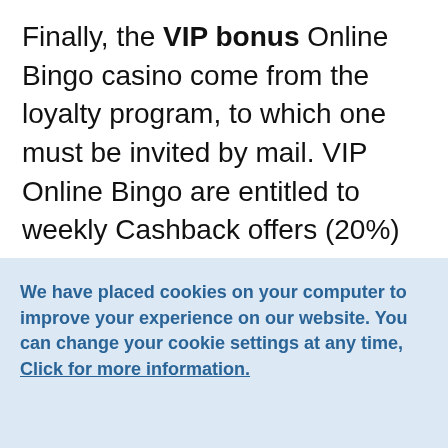Finally, the VIP bonus Online Bingo casino come from the loyalty program, to which one must be invited by mail. VIP Online Bingo are entitled to weekly Cashback offers (20%) and free spins or points convertible into cash + money have
We have placed cookies on your computer to improve your experience on our website. You can change your cookie settings at any time, Click for more information.
Accept cookies